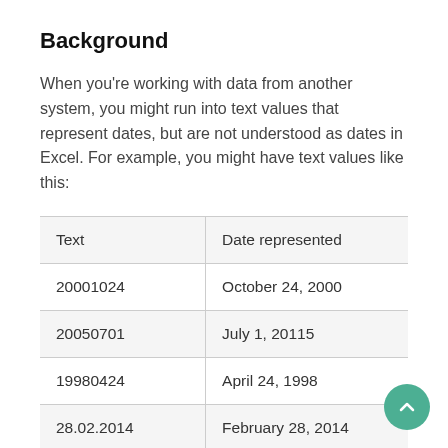Background
When you're working with data from another system, you might run into text values that represent dates, but are not understood as dates in Excel. For example, you might have text values like this:
| Text | Date represented |
| --- | --- |
| 20001024 | October 24, 2000 |
| 20050701 | July 1, 20115 |
| 19980424 | April 24, 1998 |
| 28.02.2014 | February 28, 2014 |